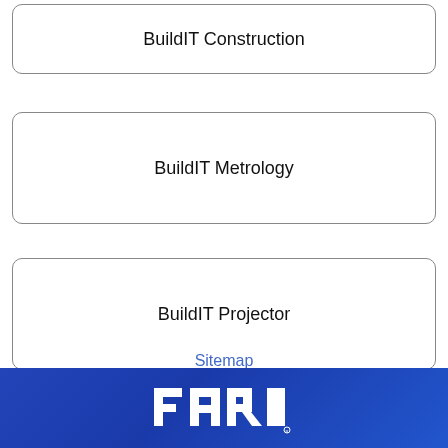BuildIT Construction
BuildIT Metrology
BuildIT Projector
Sitemap
[Figure (logo): FARO logo in white text on blue gradient background]